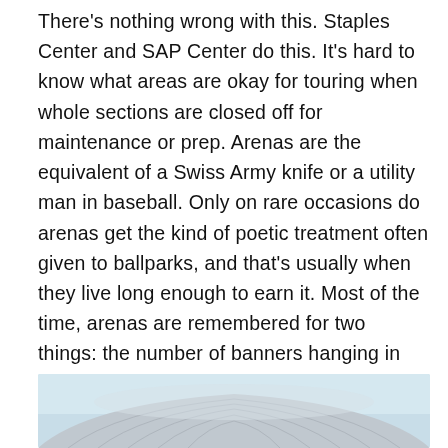There's nothing wrong with this. Staples Center and SAP Center do this. It's hard to know what areas are okay for touring when whole sections are closed off for maintenance or prep. Arenas are the equivalent of a Swiss Army knife or a utility man in baseball. Only on rare occasions do arenas get the kind of poetic treatment often given to ballparks, and that's usually when they live long enough to earn it. Most of the time, arenas are remembered for two things: the number of banners hanging in the rafters, and the memorable concerts that played there in the past. The Oakland Arena checks both boxes, thanks to the Warriors' championships in four NBA seasons, and the venue's place as a Bill Graham's large indoor venue of choice in the 70's and 80's.
[Figure (photo): Partial view of a large arena roof/dome structure with light blue sky background, showing the curved metallic roof panels of the Oakland Arena.]